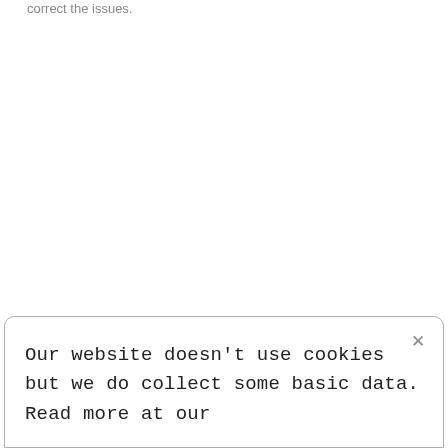correct the issues.
Our website doesn't use cookies but we do collect some basic data. Read more at our